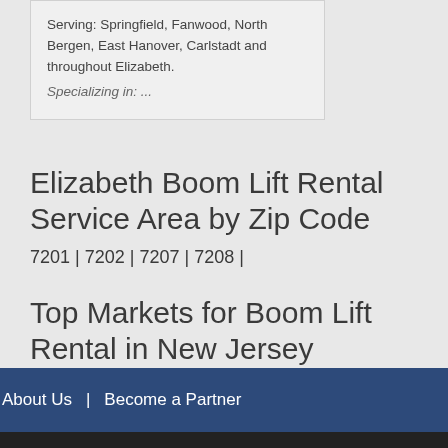Serving: Springfield, Fanwood, North Bergen, East Hanover, Carlstadt and throughout Elizabeth.
Specializing in: ...
Elizabeth Boom Lift Rental Service Area by Zip Code
7201 | 7202 | 7207 | 7208 |
Top Markets for Boom Lift Rental in New Jersey
Jersey City | Newark | Paterson |
About Us | Become a Partner